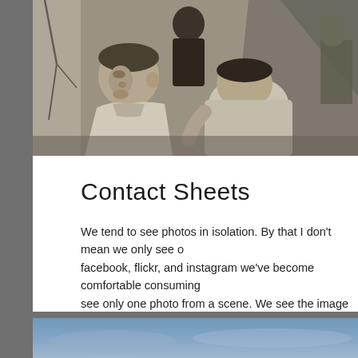[Figure (photo): Black and white photograph of children, possibly in a war-torn or disaster area with rubble and a cracked wall visible. Two young boys are prominently featured in the foreground.]
Contact Sheets
We tend to see photos in isolation. By that I don't mean we only see one photo at a time; on facebook, flickr, and instagram we've become comfortable consuming many photos at once. But we see only one photo from a scene. We see the image the photographer
[Figure (photo): Partial view of a second photograph, appears to be a blue-toned outdoor scene, partially visible at the bottom of the page.]